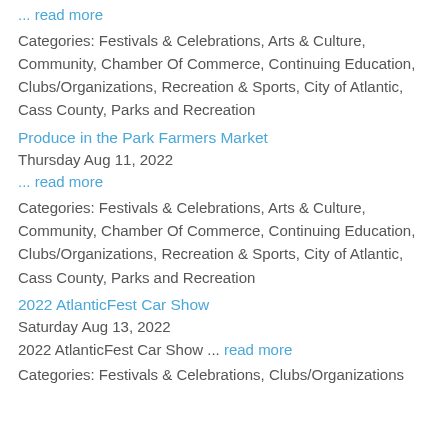... read more
Categories: Festivals & Celebrations, Arts & Culture, Community, Chamber Of Commerce, Continuing Education, Clubs/Organizations, Recreation & Sports, City of Atlantic, Cass County, Parks and Recreation
Produce in the Park Farmers Market
Thursday Aug 11, 2022
... read more
Categories: Festivals & Celebrations, Arts & Culture, Community, Chamber Of Commerce, Continuing Education, Clubs/Organizations, Recreation & Sports, City of Atlantic, Cass County, Parks and Recreation
2022 AtlanticFest Car Show
Saturday Aug 13, 2022
2022 AtlanticFest Car Show ... read more
Categories: Festivals & Celebrations, Clubs/Organizations